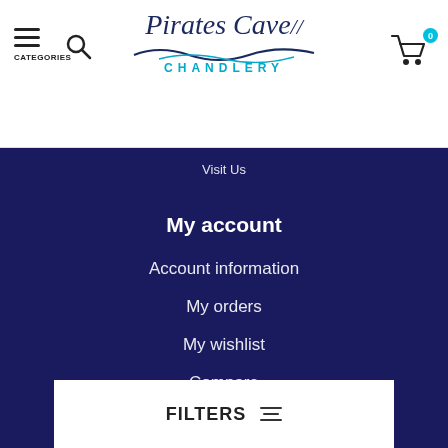Pirates Cave CHANDLERY — navigation header with categories, search, cart (0)
Visit Us
My account
Account information
My orders
My wishlist
Compare
All products
© Copyright ... handlery
FILTERS